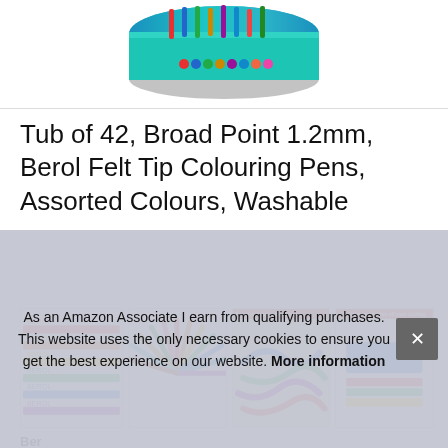[Figure (photo): Product image of Berol felt tip markers tub at the top of the page, shown as a rounded blue/teal container]
Tub of 42, Broad Point 1.2mm, Berol Felt Tip Colouring Pens, Assorted Colours, Washable
[Figure (photo): Row of four product thumbnail images: 1) stacked pen labels in various colors, 2) radial fan of colored pens, 3) broad tip coloring demo image, 4) washable ink on clothing demo image]
Berol
in 1
eas
for at least 14 days before they dry out
As an Amazon Associate I earn from qualifying purchases. This website uses the only necessary cookies to ensure you get the best experience on our website. More information